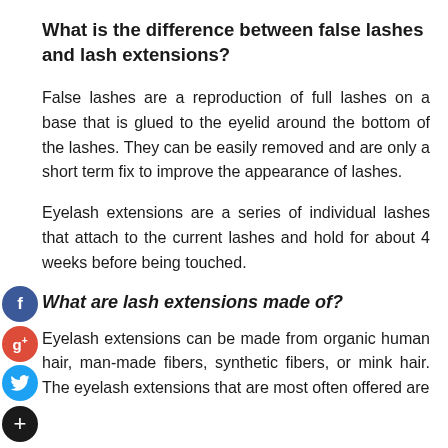What is the difference between false lashes and lash extensions?
False lashes are a reproduction of full lashes on a base that is glued to the eyelid around the bottom of the lashes. They can be easily removed and are only a short term fix to improve the appearance of lashes.
Eyelash extensions are a series of individual lashes that attach to the current lashes and hold for about 4 weeks before being touched.
What are lash extensions made of?
Eyelash extensions can be made from organic human hair, man-made fibers, synthetic fibers, or mink hair. The eyelash extensions that are most often offered are